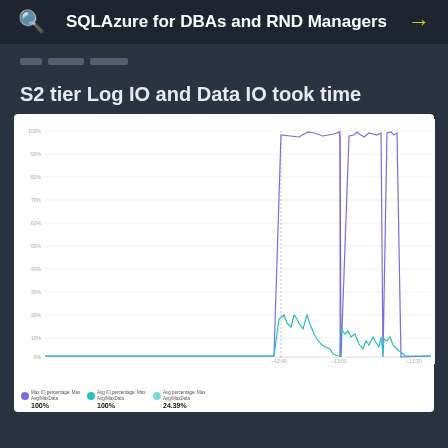SQLAzure for DBAs and RND Managers
--- ----- -----
S2 tier Log IO and Data IO took time
[Figure (continuous-plot): Line chart showing S2 tier Log IO and Data IO percentage over time. Two lines visible: a blue/purple line reaching near 100% for a period in the middle-right of the chart, and a teal/green line showing lower values around 10-20% during the same period. Both lines spike together after approximately two-thirds of the time axis. Legend shows three items: 'Max IO percentage: Max Avg/Max Data', '100%', 'Avg IO percentage: Max Avg/Max Data', '100%', 'Avg percentage: Max Avg/Max Data', '24.39%']